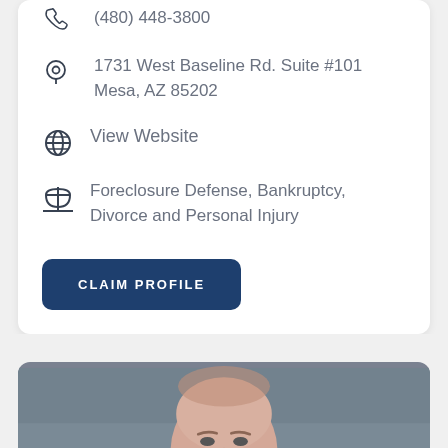(480) 448-3800
1731 West Baseline Rd. Suite #101 Mesa, AZ 85202
View Website
Foreclosure Defense, Bankruptcy, Divorce and Personal Injury
CLAIM PROFILE
[Figure (photo): Headshot photo of a man with short hair against a gray background]